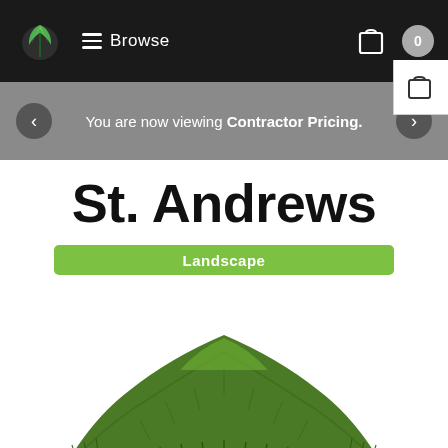Browse
You are now viewing Contractor Pricing.
St. Andrews
Landscape
[Figure (photo): Pile of artificial green grass/turf (St. Andrews Landscape product) displayed against a white background, forming a mound shape.]